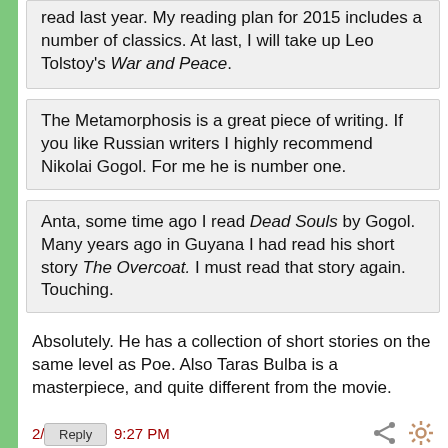read last year. My reading plan for 2015 includes a number of classics. At last, I will take up Leo Tolstoy's War and Peace.
The Metamorphosis is a great piece of writing. If you like Russian writers I highly recommend Nikolai Gogol. For me he is number one.
Anta, some time ago I read Dead Souls by Gogol. Many years ago in Guyana I had read his short story The Overcoat. I must read that story again. Touching.
Absolutely. He has a collection of short stories on the same level as Poe. Also Taras Bulba is a masterpiece, and quite different from the movie.
2/13/15  @  9:27 PM